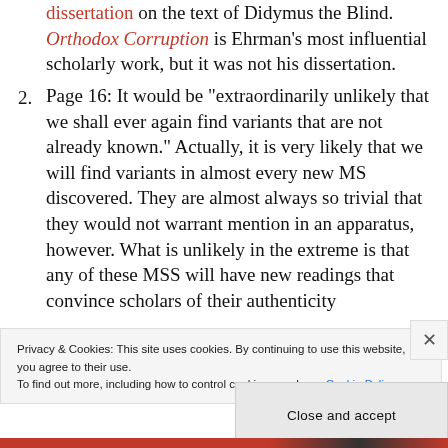dissertation on the text of Didymus the Blind. Orthodox Corruption is Ehrman's most influential scholarly work, but it was not his dissertation.
2. Page 16: It would be "extraordinarily unlikely that we shall ever again find variants that are not already known." Actually, it is very likely that we will find variants in almost every new MS discovered. They are almost always so trivial that they would not warrant mention in an apparatus, however. What is unlikely in the extreme is that any of these MSS will have new readings that convince scholars of their authenticity
Privacy & Cookies: This site uses cookies. By continuing to use this website, you agree to their use. To find out more, including how to control cookies, see here: Cookie Policy
Close and accept